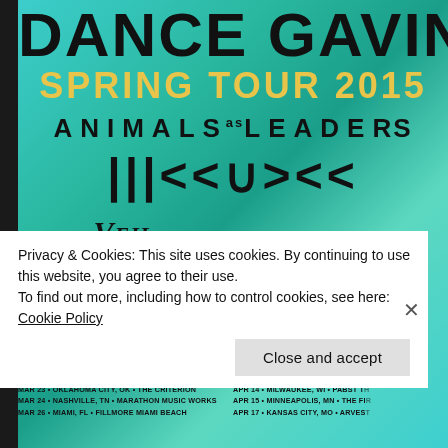DANCE GAVIN DA[NCE]
SPRING TOUR 20[15]
ANIMALS as LEADERS
ISSUES
VEIL OF MAYA   ROYAL CODA
MAR 12 • LOS ANGELES, CA • HOLLYWOOD PALLADIUM
MAR 13 • LAS VEGAS, NV • BROOKLYN BOWL
MAR 14 • PHOENIX, AZ • MARQUEE THEATRE
MAR 16 • ALBUQUERQUE, NM • EL REY THEATRE
MAR 18 • SAN ANTONIO, TX • VIBES EVENT CENTER
MAR 19 • DALLAS, TX • BOMB FACTORY
MAR 20 • HOUSTON, TX • WAREHOUSE LIVE
MAR 21 • NEW ORLEANS, LA • BUKU FESTIVAL
MAR 23 • OKLAHOMA CITY, OK • THE CRITERION
MAR 24 • NASHVILLE, TN • MARATHON MUSIC WORKS
MAR 26 • MIAMI, FL • FILLMORE MIAMI BEACH
APR 4 • BOSTON, MA • HOUSE OF B[LUES]
APR 5 • NEW YORK CITY, NY • HAM[MERSTEIN]
APR 7 • TORONTO, ON • REBEL
APR 8 • PITTSBURGH, PA • STAGE A[E]
APR 9 • INDIANAPOLIS, IN • THE EG[YPTIAN]
APR 10 • CHICAGO, IL • ARAGON BA[LLROOM]
APR 11 • ST LOUIS, MO • THE PAGEA[NT]
APR 13 • DETROIT, MI • MASONIC TE[MPLE]
APR 14 • MILWAUKEE, WI • PABST T[HEATER]
APR 15 • MINNEAPOLIS, MN • THE FI[RST AVE]
APR 17 • KANSAS CITY, MO • ARVES[T BANK]
Privacy & Cookies: This site uses cookies. By continuing to use this website, you agree to their use.
To find out more, including how to control cookies, see here: Cookie Policy
Close and accept